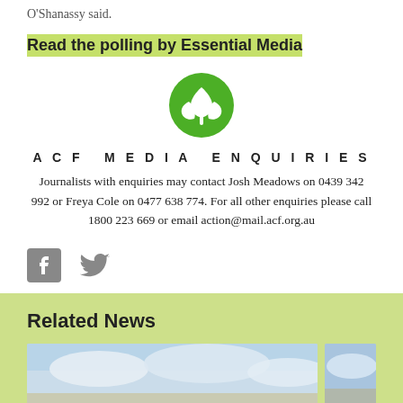O'Shanassy said.
Read the polling by Essential Media
[Figure (logo): ACF green circular logo with white plant/leaf icon]
ACF MEDIA ENQUIRIES
Journalists with enquiries may contact Josh Meadows on 0439 342 992 or Freya Cole on 0477 638 774. For all other enquiries please call 1800 223 669 or email action@mail.acf.org.au
[Figure (logo): Facebook and Twitter social media icons]
Related News
[Figure (photo): News article thumbnail photo showing clouds in blue sky]